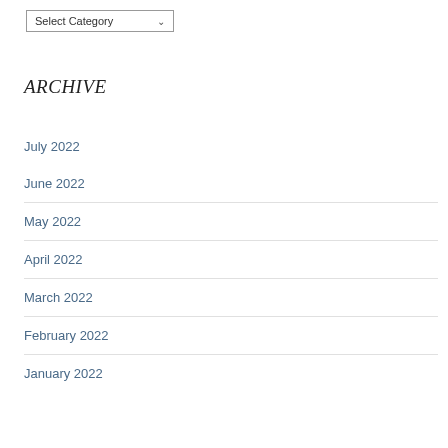Select Category
ARCHIVE
July 2022
June 2022
May 2022
April 2022
March 2022
February 2022
January 2022